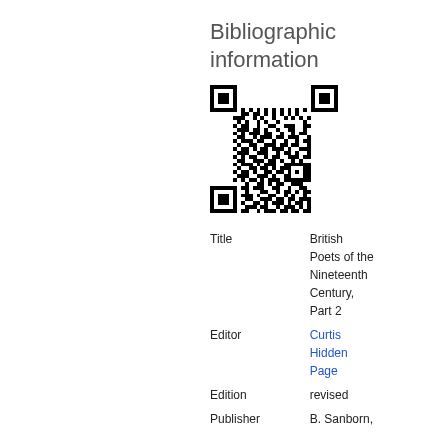Bibliographic information
[Figure (other): QR code linking to bibliographic record]
| Title | British Poets of the Nineteenth Century, Part 2 |
| Editor | Curtis Hidden Page |
| Edition | revised |
| Publisher | B. Sanborn, |